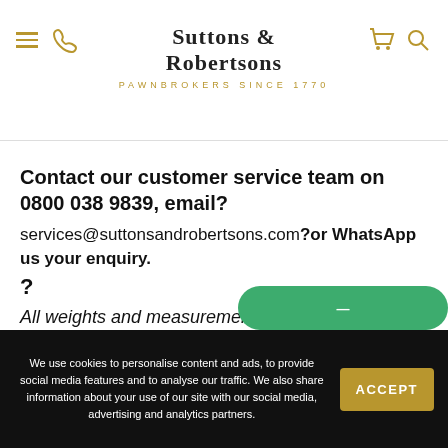Suttons & Robertsons — Pawnbrokers Since 1770
Contact our customer service team on 0800 038 9839, email?
services@suttonsandrobertsons.com?or WhatsApp us your enquiry.
?
All weights and measurements in the description above are approximations only. All of our pre-owned jewellery is professionall
We use cookies to personalise content and ads, to provide social media features and to analyse our traffic. We also share information about your use of our site with our social media, advertising and analytics partners.
ACCEPT